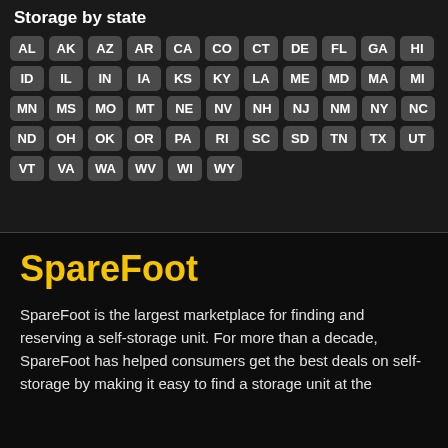Storage by state
AL AK AZ AR CA CO CT DE FL GA HI ID IL IN IA KS KY LA ME MD MA MI MN MS MO MT NE NV NH NJ NM NY NC ND OH OK OR PA RI SC SD TN TX UT VT VA WA WV WI WY
SpareFoot
SpareFoot is the largest marketplace for finding and reserving a self-storage unit. For more than a decade, SpareFoot has helped consumers get the best deals on self-storage by making it easy to find a storage unit at the